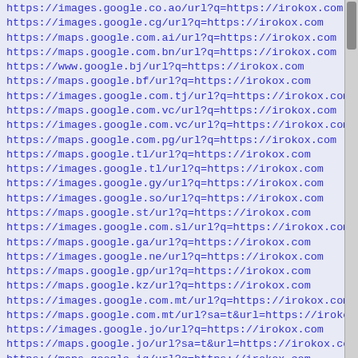https://images.google.co.ao/url?q=https://irokox.com
https://images.google.cg/url?q=https://irokox.com
https://maps.google.com.ai/url?q=https://irokox.com
https://maps.google.com.bn/url?q=https://irokox.com
https://www.google.bj/url?q=https://irokox.com
https://maps.google.bf/url?q=https://irokox.com
https://images.google.com.tj/url?q=https://irokox.com
https://maps.google.com.vc/url?q=https://irokox.com
https://images.google.com.vc/url?q=https://irokox.com
https://maps.google.com.pg/url?q=https://irokox.com
https://maps.google.tl/url?q=https://irokox.com
https://images.google.tl/url?q=https://irokox.com
https://images.google.gy/url?q=https://irokox.com
https://images.google.so/url?q=https://irokox.com
https://maps.google.st/url?q=https://irokox.com
https://images.google.com.sl/url?q=https://irokox.com
https://maps.google.ga/url?q=https://irokox.com
https://images.google.ne/url?q=https://irokox.com
https://maps.google.gp/url?q=https://irokox.com
https://maps.google.kz/url?q=https://irokox.com
https://images.google.com.mt/url?q=https://irokox.com
https://maps.google.com.mt/url?sa=t&url=https://irokox.com/
https://images.google.jo/url?q=https://irokox.com
https://maps.google.jo/url?sa=t&url=https://irokox.com/
https://maps.google.iq/url?q=https://irokox.com
https://maps.google.com.qa/url?q=https://irokox.com
https://maps.google.sn/url?q=https://irokox.com
https://maps.google.co.tz/url?q=https://irokox.com
https://images.google.ps/url?q=https://irokox.com
https://images.google.rw/url?q=https://irokox.com